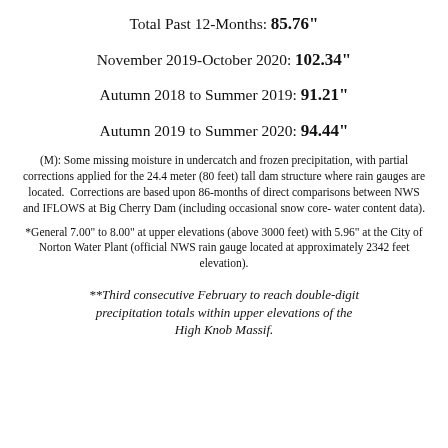Total Past 12-Months: 85.76"
November 2019-October 2020: 102.34"
Autumn 2018 to Summer 2019: 91.21"
Autumn 2019 to Summer 2020: 94.44"
(M): Some missing moisture in undercatch and frozen precipitation, with partial corrections applied for the 24.4 meter (80 feet) tall dam structure where rain gauges are located.  Corrections are based upon 86-months of direct comparisons between NWS and IFLOWS at Big Cherry Dam (including occasional snow core-water content data).
*General 7.00" to 8.00" at upper elevations (above 3000 feet) with 5.96" at the City of Norton Water Plant (official NWS rain gauge located at approximately 2342 feet elevation).
**Third consecutive February to reach double-digit precipitation totals within upper elevations of the High Knob Massif.